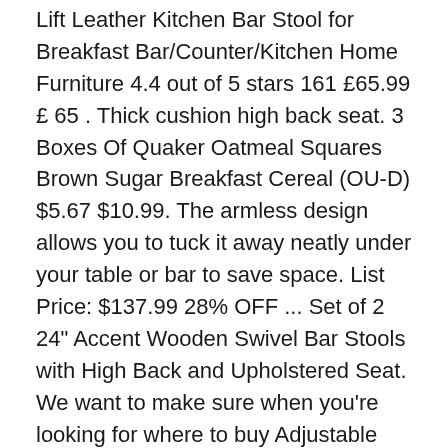Lift Leather Kitchen Bar Stool for Breakfast Bar/Counter/Kitchen Home Furniture 4.4 out of 5 stars 161 £65.99 £ 65 . Thick cushion high back seat. 3 Boxes Of Quaker Oatmeal Squares Brown Sugar Breakfast Cereal (OU-D) $5.67 $10.99. The armless design allows you to tuck it away neatly under your table or bar to save space. List Price: $137.99 28% OFF ... Set of 2 24" Accent Wooden Swivel Bar Stools with High Back and Upholstered Seat. We want to make sure when you're looking for where to buy Adjustable Bar Stools online, you're getting the one that's exactly right for you, whether that's the Doonfin Swivel Adjustable Height Bar Stool (Set of 2), the Molter Adjustable Height Swivel Bar Stool (Set of 2... The sleek, chrome base pairs beautifully with the fabric. ELECWISH Set of 2 Velvet Fabric Armless Chair Adjustable Swivel Hydraulic Bar Stool, Square Island Kitchen Counter Barstoo. Set of 2 Adjustable Swivel Armless Bar Stools. Get Deal.